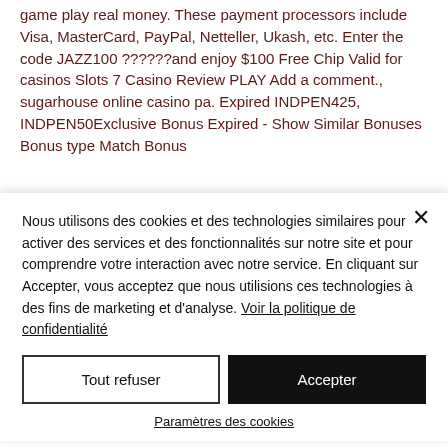game play real money. These payment processors include Visa, MasterCard, PayPal, Netteller, Ukash, etc. Enter the code JAZZ100 ??????and enjoy $100 Free Chip Valid for casinos Slots 7 Casino Review PLAY Add a comment., sugarhouse online casino pa. Expired INDPEN425, INDPEN50Exclusive Bonus Expired - Show Similar Bonuses Bonus type Match Bonus
Nous utilisons des cookies et des technologies similaires pour activer des services et des fonctionnalités sur notre site et pour comprendre votre interaction avec notre service. En cliquant sur Accepter, vous acceptez que nous utilisions ces technologies à des fins de marketing et d'analyse. Voir la politique de confidentialité
Tout refuser
Accepter
Paramètres des cookies